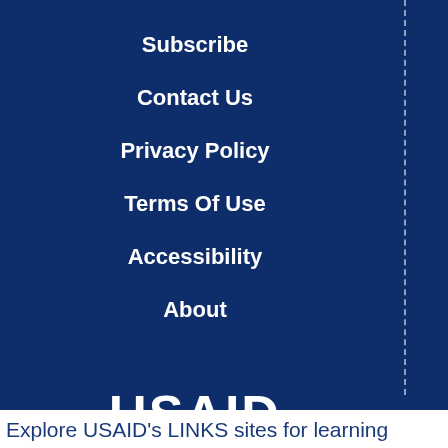Subscribe
Contact Us
Privacy Policy
Terms Of Use
Accessibility
About
[Figure (logo): USAID FROM THE AMERICAN PEOPLE logo in white text on dark blue background]
Explore USAID's LINKS sites for learning